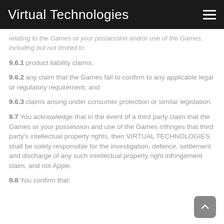Virtual Technologies
relating to the Games or your possession and/or use of the Games, including but not limited to:
9.6.1 product liability claims;
9.6.2 any claim that the Games fail to confirm to any applicable legal or regulatory requirement; and
9.6.3 claims arising under consumer protection or similar legislation.
9.7 You acknowledge that in the event of a third party claim that the Games or your possession and use of the Games infringes that third party's intellectual property rights, then VIRTUAL TECHNOLOGIES shall be solely responsible for the investigation, defence, settlement and discharge of any such intellectual property right infringement claim, and not Apple.
9.8 You confirm that: